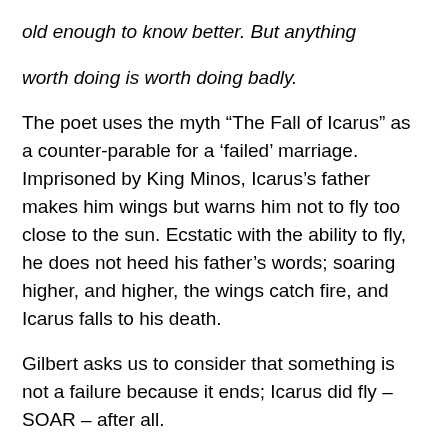old enough to know better. But anything
worth doing is worth doing badly.
The poet uses the myth “The Fall of Icarus” as a counter-parable for a ‘failed’ marriage. Imprisoned by King Minos, Icarus’s father makes him wings but warns him not to fly too close to the sun. Ecstatic with the ability to fly, he does not heed his father’s words; soaring higher, and higher, the wings catch fire, and Icarus falls to his death.
Gilbert asks us to consider that something is not a failure because it ends; Icarus did fly – SOAR – after all.
Just as planets are formed from exploding supernovas, just as the Phoenix rises from the ashes, there must be death for birth. Impermanence is an eternal paradoxical